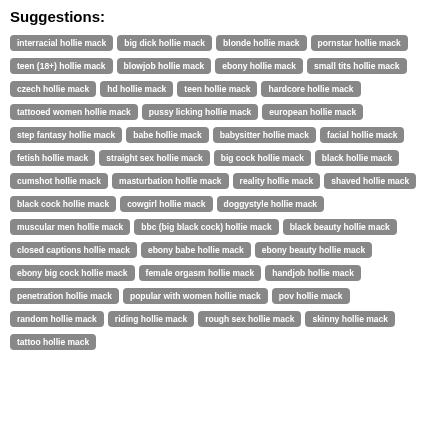Suggestions:
interracial hollie mack
big dick hollie mack
blonde hollie mack
pornstar hollie mack
teen (18+) hollie mack
blowjob hollie mack
ebony hollie mack
small tits hollie mack
czech hollie mack
hd hollie mack
teen hollie mack
hardcore hollie mack
tattooed women hollie mack
pussy licking hollie mack
european hollie mack
step fantasy hollie mack
babe hollie mack
babysitter hollie mack
facial hollie mack
fetish hollie mack
straight sex hollie mack
big cock hollie mack
black hollie mack
cumshot hollie mack
masturbation hollie mack
reality hollie mack
shaved hollie mack
black cock hollie mack
cowgirl hollie mack
doggystyle hollie mack
muscular men hollie mack
bbc (big black cock) hollie mack
black beauty hollie mack
closed captions hollie mack
ebony babe hollie mack
ebony beauty hollie mack
ebony big cock hollie mack
female orgasm hollie mack
handjob hollie mack
penetration hollie mack
popular with women hollie mack
pov hollie mack
random hollie mack
riding hollie mack
rough sex hollie mack
skinny hollie mack
tattoo hollie mack